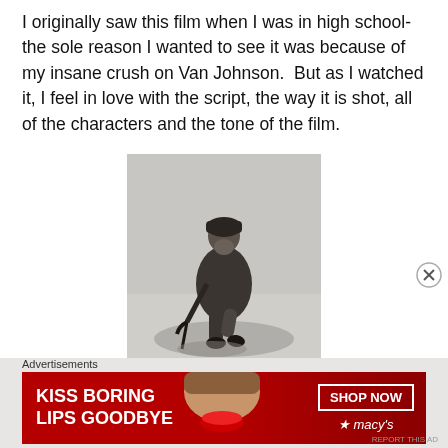I originally saw this film when I was in high school-the sole reason I wanted to see it was because of my insane crush on Van Johnson. But as I watched it, I feel in love with the script, the way it is shot, all of the characters and the tone of the film.
[Figure (photo): Black and white photograph of a bearded soldier in heavy winter coat and hat, holding a rifle, standing in a snow scene.]
Advertisements
[Figure (photo): Advertisement banner for Macy's with text 'KISS BORING LIPS GOODBYE' and 'SHOP NOW' button with Macy's star logo, showing a woman's face with red lips on a red background.]